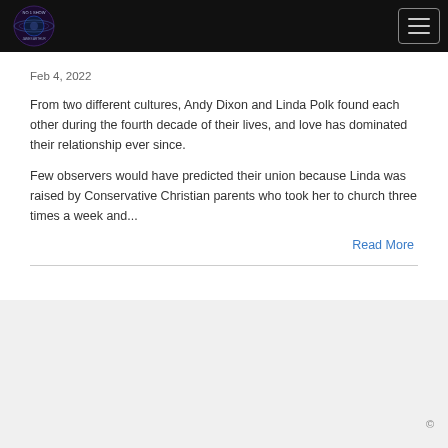Feb 4, 2022
From two different cultures, Andy Dixon and Linda Polk found each other during the fourth decade of their lives, and love has dominated their relationship ever since.
Few observers would have predicted their union because Linda was raised by Conservative Christian parents who took her to church three times a week and...
Read More
©